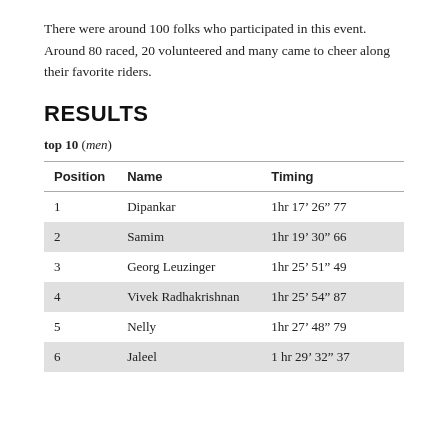There were around 100 folks who participated in this event. Around 80 raced, 20 volunteered and many came to cheer along their favorite riders.
RESULTS
top 10 (men)
| Position | Name | Timing |
| --- | --- | --- |
| 1 | Dipankar | 1hr 17’ 26” 77 |
| 2 | Samim | 1hr 19’ 30” 66 |
| 3 | Georg Leuzinger | 1hr 25’ 51” 49 |
| 4 | Vivek Radhakrishnan | 1hr 25’ 54” 87 |
| 5 | Nelly | 1hr 27’ 48” 79 |
| 6 | Jaleel | 1 hr 29’ 32” 37 |